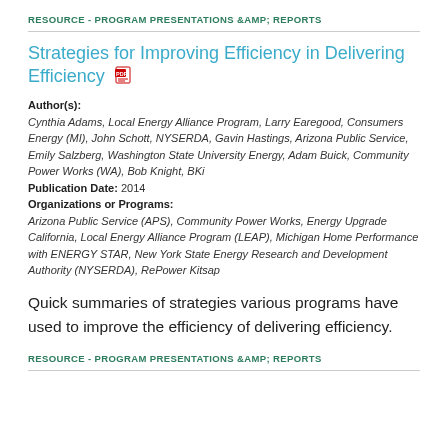RESOURCE - PROGRAM PRESENTATIONS &AMP; REPORTS
Strategies for Improving Efficiency in Delivering Efficiency
Author(s): Cynthia Adams, Local Energy Alliance Program, Larry Earegood, Consumers Energy (MI), John Schott, NYSERDA, Gavin Hastings, Arizona Public Service, Emily Salzberg, Washington State University Energy, Adam Buick, Community Power Works (WA), Bob Knight, BKi
Publication Date: 2014
Organizations or Programs:
Arizona Public Service (APS), Community Power Works, Energy Upgrade California, Local Energy Alliance Program (LEAP), Michigan Home Performance with ENERGY STAR, New York State Energy Research and Development Authority (NYSERDA), RePower Kitsap
Quick summaries of strategies various programs have used to improve the efficiency of delivering efficiency.
RESOURCE - PROGRAM PRESENTATIONS &AMP; REPORTS